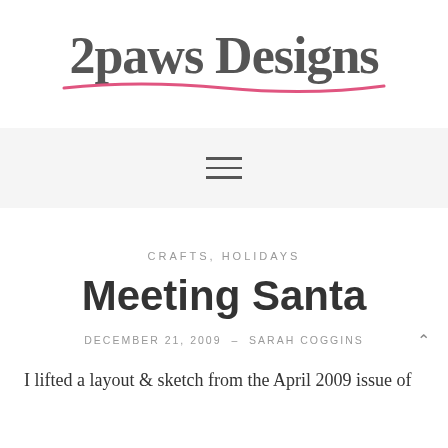[Figure (logo): 2paws Designs handwritten logo with pink underline stroke]
[Figure (other): Hamburger navigation menu icon (three horizontal lines) on a light grey background bar]
CRAFTS, HOLIDAYS
Meeting Santa
DECEMBER 21, 2009  –  SARAH COGGINS
I lifted a layout & sketch from the April 2009 issue of